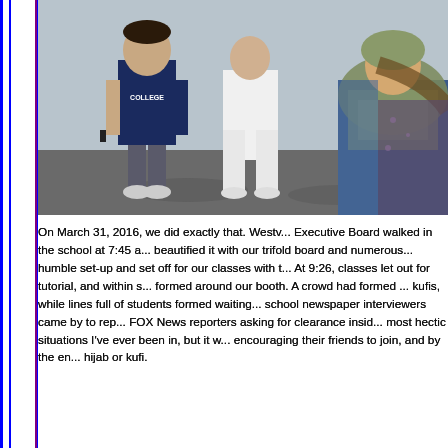[Figure (photo): Outdoor photo showing students walking on a campus. One student wears a dark navy shirt with 'COLLEGE' text, another wears a white hoodie. A woman with a green/gold scarf (hijab) and denim jacket is visible on the right side.]
On March 31, 2016, we did exactly that. Westv... Executive Board walked in the school at 7:45 a... beautified it with our trifold board and numerous... humble set-up and set off for our classes with t... At 9:26, classes let out for tutorial, and within s... formed around our booth. A crowd had formed ... kufis, while lines full of students formed waiting ... school newspaper interviewers came by to rep... FOX News reporters asking for clearance insid... most hectic situations I've ever been in, but it w... encouraging their friends to join, and by the en... hijab or kufi.